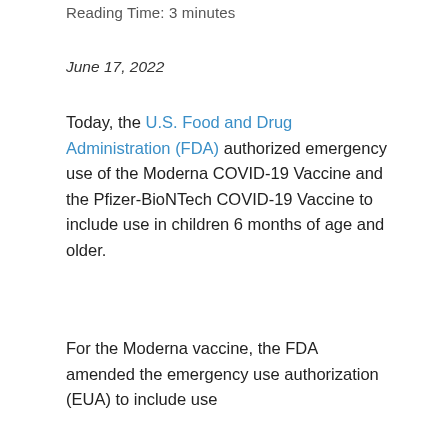Reading Time: 3 minutes
June 17, 2022
Today, the U.S. Food and Drug Administration (FDA) authorized emergency use of the Moderna COVID-19 Vaccine and the Pfizer-BioNTech COVID-19 Vaccine to include use in children 6 months of age and older.
For the Moderna vaccine, the FDA amended the emergency use authorization (EUA) to include use